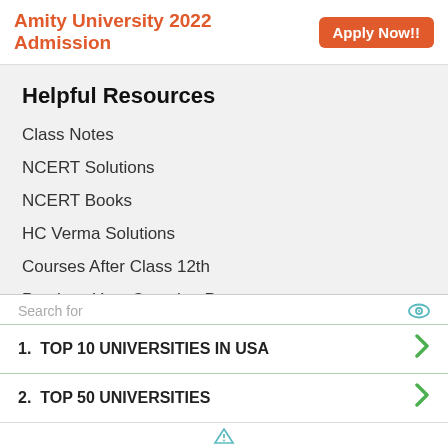Amity University 2022 Admission  Apply Now!!
Helpful Resources
Class Notes
NCERT Solutions
NCERT Books
HC Verma Solutions
Courses After Class 12th
Previous Year Question Papers
Free Mock Tests
Agricultural Exams
Architecture Exams
Education Exams
Engineering Exams
Search for
1.  TOP 10 UNIVERSITIES IN USA
2.  TOP 50 UNIVERSITIES